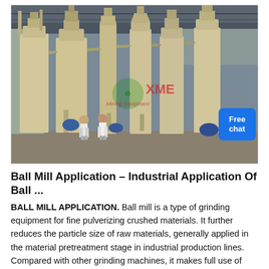[Figure (photo): Industrial ball mill machinery installation inside a factory building. Several large cream/beige colored grinding mill units with tall vertical cylinders, pipes, and hoppers. Two workers in white shirts visible near the equipment. XME Mining Equipment watermark with green recycling logo visible on the image.]
Ball Mill Application – Industrial Application Of Ball ...
BALL MILL APPLICATION. Ball mill is a type of grinding equipment for fine pulverizing crushed materials. It further reduces the particle size of raw materials, generally applied in the material pretreatment stage in industrial production lines. Compared with other grinding machines, it makes full use of